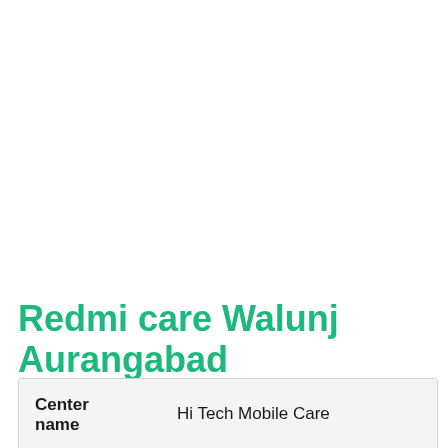Redmi care Walunj Aurangabad
| Center name | Hi Tech Mobile Care |
|  | 📍 C-252, Mahavir Chowk, MIDC, |